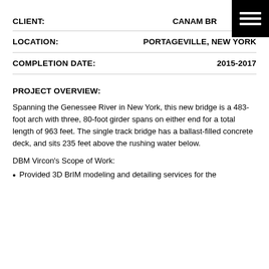CLIENT: CANAM BR[IDGE]
LOCATION: PORTAGEVILLE, NEW YORK
COMPLETION DATE: 2015-2017
PROJECT OVERVIEW:
Spanning the Genessee River in New York, this new bridge is a 483-foot arch with three, 80-foot girder spans on either end for a total length of 963 feet. The single track bridge has a ballast-filled concrete deck, and sits 235 feet above the rushing water below.
DBM Vircon’s Scope of Work:
Provided 3D BrIM modeling and detailing services for the